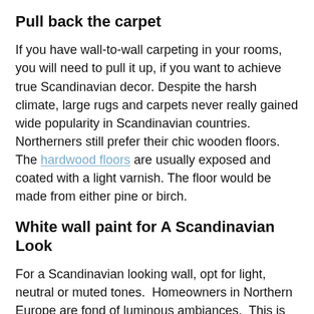Pull back the carpet
If you have wall-to-wall carpeting in your rooms, you will need to pull it up, if you want to achieve true Scandinavian decor. Despite the harsh climate, large rugs and carpets never really gained wide popularity in Scandinavian countries. Northerners still prefer their chic wooden floors. The hardwood floors are usually exposed and coated with a light varnish. The floor would be made from either pine or birch.
White wall paint for A Scandinavian Look
For a Scandinavian looking wall, opt for light, neutral or muted tones.  Homeowners in Northern Europe are fond of luminous ambiances.  This is because of the dreary climate and lack of bright sunlight and freezing temperatures in wintertime.  Often using white, beige and light cream to amplify the visual benefits of natural